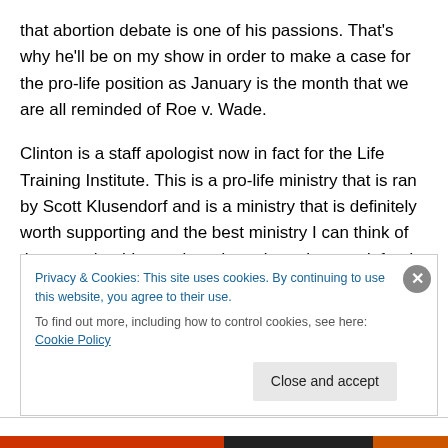that abortion debate is one of his passions. That's why he'll be on my show in order to make a case for the pro-life position as January is the month that we are all reminded of Roe v. Wade.
Clinton is a staff apologist now in fact for the Life Training Institute. This is a pro-life ministry that is ran by Scott Klusendorf and is a ministry that is definitely worth supporting and the best ministry I can think of that you should go to in order to learn how to defend the pro-life position. If Clinton is an apologist with this group, that
Privacy & Cookies: This site uses cookies. By continuing to use this website, you agree to their use.
To find out more, including how to control cookies, see here: Cookie Policy